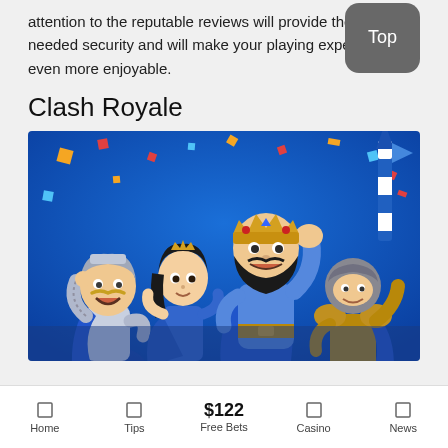attention to the reputable reviews will provide the much needed security and will make your playing experience even more enjoyable.
Clash Royale
[Figure (illustration): Clash Royale mobile game promotional artwork showing four cartoon characters: a knight with a mustache, a female archer, a bearded king raising his fist, and an armored knight with a lance, all on a blue background with confetti]
Home | Tips | $122 Free Bets | Casino | News